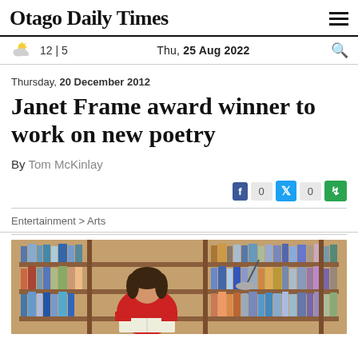Otago Daily Times
12 | 5  Thu, 25 Aug 2022
Thursday, 20 December 2012
Janet Frame award winner to work on new poetry
By Tom McKinlay
[Figure (screenshot): Social share buttons: Facebook count 0, Twitter count 0, and a green share button]
Entertainment > Arts
[Figure (photo): A woman in a red top sitting in front of a large bookshelf filled with books, reading a book, with a desk lamp visible]